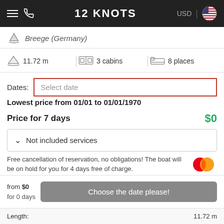12 KNOTS — USD
Breege (Germany)
11.72 m | 3 cabins | 8 places
Dates: Select date
Lowest price from 01/01 to 01/01/1970
Price for 7 days  $0
Not included services
Free cancellation of reservation, no obligations! The boat will be on hold for you for 4 days free of charge.
from $0
for 0 days
Choose the date please!
Length:  11.72 m